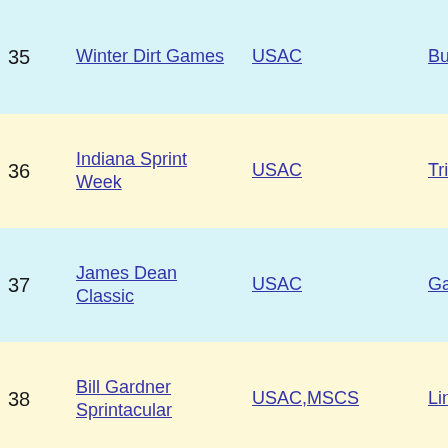| # | Event | Sanctioning | Location | Date |
| --- | --- | --- | --- | --- |
| 35 | Winter Dirt Games | USAC | Bubba,FL | February 18, 20... |
| 36 | Indiana Sprint Week | USAC | Tri-State,IN | Saturday July 3, 2021 |
| 37 | James Dean Classic | USAC | Gas City,IN | Friday September 25, 20... |
| 38 | Bill Gardner Sprintacular | USAC,MSCS | Lincoln Park,IN | Saturday July 3, 2021 |
| 39 | Oval Nationals | USAC | Perris,CA | Saturday November 6, 20... |